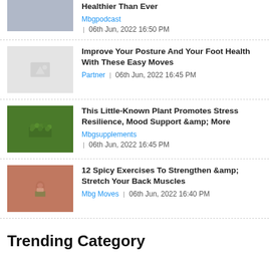Healthier Than Ever — Mbgpodcast | 06th Jun, 2022 16:50 PM
Improve Your Posture And Your Foot Health With These Easy Moves — Partner | 06th Jun, 2022 16:45 PM
This Little-Known Plant Promotes Stress Resilience, Mood Support &amp; More — Mbgsupplements | 06th Jun, 2022 16:45 PM
12 Spicy Exercises To Strengthen &amp; Stretch Your Back Muscles — Mbg Moves | 06th Jun, 2022 16:40 PM
Trending Category